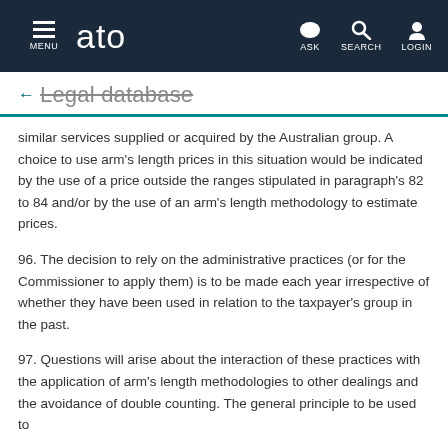MENU | ato | ASK | SEARCH | LOGIN
← Legal database
similar services supplied or acquired by the Australian group. A choice to use arm's length prices in this situation would be indicated by the use of a price outside the ranges stipulated in paragraph's 82 to 84 and/or by the use of an arm's length methodology to estimate prices.
96. The decision to rely on the administrative practices (or for the Commissioner to apply them) is to be made each year irrespective of whether they have been used in relation to the taxpayer's group in the past.
97. Questions will arise about the interaction of these practices with the application of arm's length methodologies to other dealings and the avoidance of double counting. The general principle to be used to